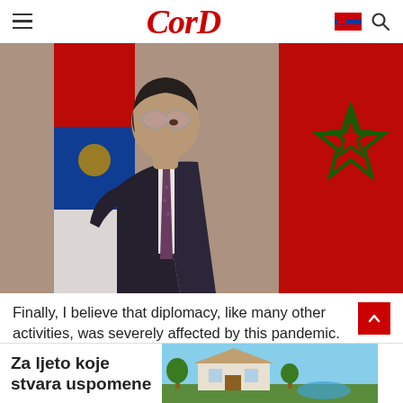CorD
[Figure (photo): A man in a dark suit with glasses and a patterned tie stands in profile, with a Serbian flag and a Moroccan flag visible in the background.]
Finally, I believe that diplomacy, like many other activities, was severely affected by this pandemic.
[Figure (photo): Advertisement banner reading 'Za ljeto koje stvara uspomene' with an image of a house/villa.]